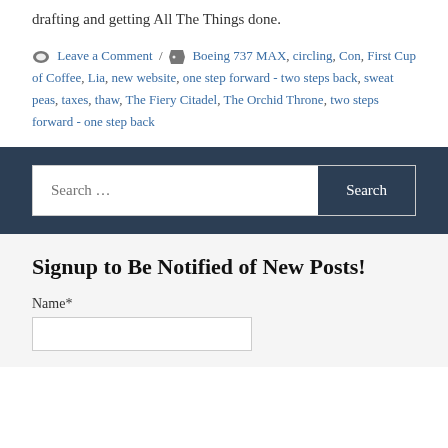drafting and getting All The Things done.
Leave a Comment / Boeing 737 MAX, circling, Con, First Cup of Coffee, Lia, new website, one step forward - two steps back, sweat peas, taxes, thaw, The Fiery Citadel, The Orchid Throne, two steps forward - one step back
Search …
Signup to Be Notified of New Posts!
Name*